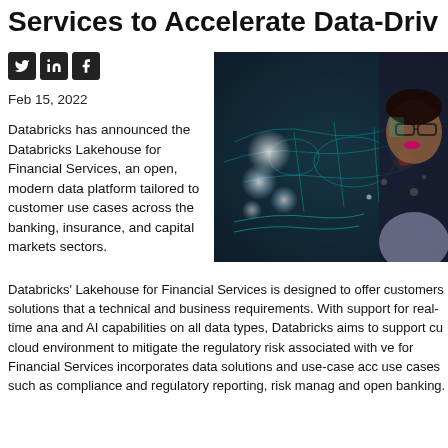Services to Accelerate Data-Driv
[Figure (illustration): Social media icons: Twitter (bird), LinkedIn (in), Facebook (f) on dark square backgrounds]
Feb 15, 2022
Databricks has announced the Databricks Lakehouse for Financial Services, an open, modern data platform tailored to customer use cases across the banking, insurance, and capital markets sectors.
[Figure (photo): Woman with glasses looking at a glowing digital display showing world map and data visualizations in dark teal tones]
Databricks' Lakehouse for Financial Services is designed to offer customers solutions that a technical and business requirements. With support for real-time ana and AI capabilities on all data types, Databricks aims to support cu cloud environment to mitigate the regulatory risk associated with ve for Financial Services incorporates data solutions and use-case acc use cases such as compliance and regulatory reporting, risk manag and open banking.